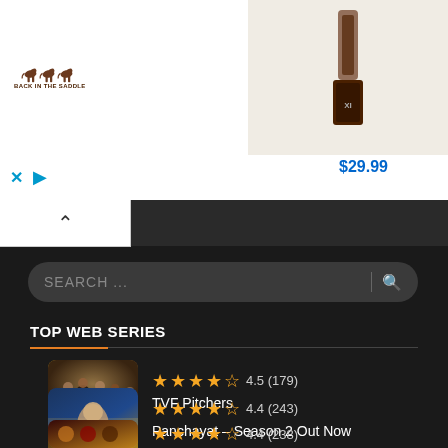[Figure (screenshot): Advertisement banner for 'Back in the Saddle' showing logo with horses and a product image priced at $29.99]
[Figure (screenshot): Mobile app search interface with dark theme showing a search bar labeled SEARCH...]
TOP WEB SERIES
4.5 (179) TVF Pitchers
4.4 (243) Panchayat – Season 2 Out Now
4.4 (238)